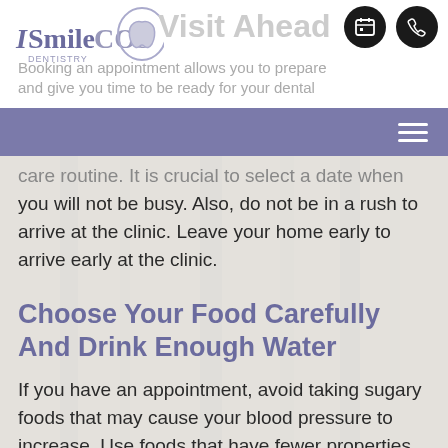ISmile COS Dentistry — Visit Ahead — Booking an appointment allows you to prepare and give you time to be ready for your dental
care routine. It is crucial to select a date when you will not be busy. Also, do not be in a rush to arrive at the clinic. Leave your home early to arrive early at the clinic.
Choose Your Food Carefully And Drink Enough Water
If you have an appointment, avoid taking sugary foods that may cause your blood pressure to increase. Use foods that have fewer properties, like caffeine-free tea.